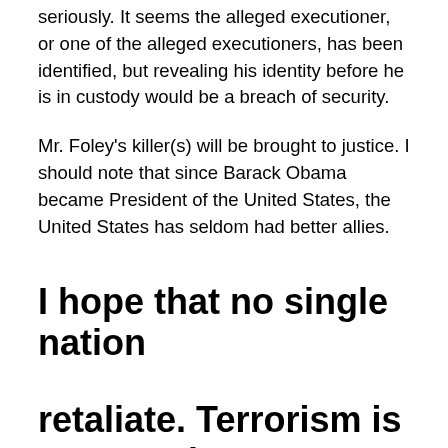seriously. It seems the alleged executioner, or one of the alleged executioners, has been identified, but revealing his identity before he is in custody would be a breach of security.
Mr. Foley's killer(s) will be brought to justice. I should note that since Barack Obama became President of the United States, the United States has seldom had better allies.
I hope that no single nation
retaliate. Terrorism is not a nation. It
could be the terrorists might enjoy